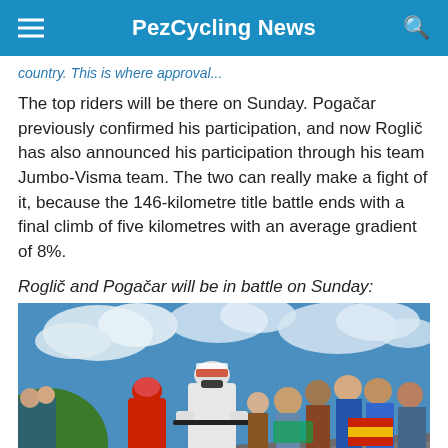PezCycling News
...country. This is where approval...
The top riders will be there on Sunday. Pogačar previously confirmed his participation, and now Roglič has also announced his participation through his team Jumbo-Visma team. The two can really make a fight of it, because the 146-kilometre title battle ends with a final climb of five kilometres with an average gradient of 8%.
Roglič and Pogačar will be in battle on Sunday:
[Figure (photo): Cyclists climbing a steep road on a sunny day with crowds of spectators lining the road. A rider in white jersey leads, followed by a rider in red. Blue sky with clouds in background.]